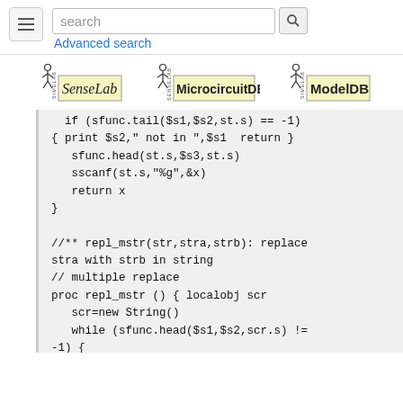search | Advanced search | SenseLab | MicrocircuitDB | ModelDB
[Figure (screenshot): Three logos: SenseLab, MicrocircuitDB, ModelDB]
if (sfunc.tail($s1,$s2,st.s) == -1)
{ print $s2," not in ",$s1  return }
   sfunc.head(st.s,$s3,st.s)
   sscanf(st.s,"%g",&x)
   return x
}

//** repl_mstr(str,stra,strb): replace
stra with strb in string
// multiple replace
proc repl_mstr () { localobj scr
   scr=new String()
   while (sfunc.head($s1,$s2,scr.s) !=
-1) {
      sfunc.tail($s1,$s2,scr.s)
      sprint(scr.s,"%s%s",$s3,scr.s)
      sfunc.head($s1,$s2,$s1)
      sprint($s1,"%s%s",$s1,scr.s)
   }